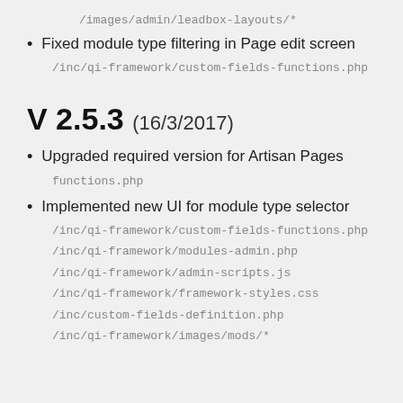/images/admin/leadbox-layouts/*
Fixed module type filtering in Page edit screen
/inc/qi-framework/custom-fields-functions.php
V 2.5.3 (16/3/2017)
Upgraded required version for Artisan Pages
functions.php
Implemented new UI for module type selector
/inc/qi-framework/custom-fields-functions.php
/inc/qi-framework/modules-admin.php
/inc/qi-framework/admin-scripts.js
/inc/qi-framework/framework-styles.css
/inc/custom-fields-definition.php
/inc/qi-framework/images/mods/*